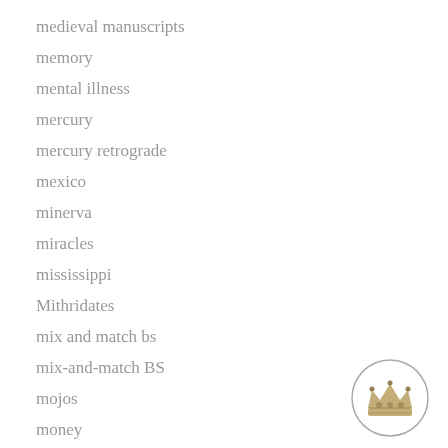medieval manuscripts
memory
mental illness
mercury
mercury retrograde
mexico
minerva
miracles
mississippi
Mithridates
mix and match bs
mix-and-match BS
mojos
money
[Figure (illustration): A circular emblem containing a decorative crown illustration]